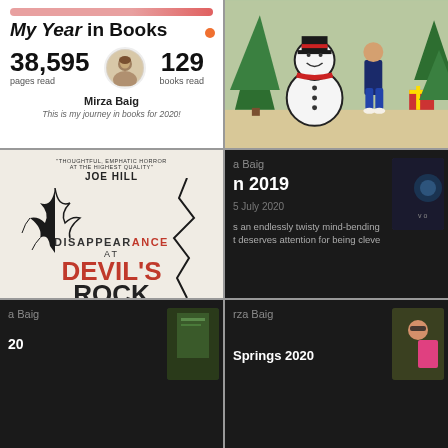[Figure (screenshot): My Year in Books Goodreads summary card: 38,595 pages read, 129 books read, Mirza Baig, 'This is my journey in books for 2020!']
[Figure (photo): Child standing next to a large snowman decoration with Christmas tree in background]
[Figure (photo): Book cover: Disappearance at Devil's Rock by Paul Tremblay, with endorsement from Joe Hill]
[Figure (screenshot): Dark-themed reading app showing review dated 2019 / 5 July 2020: 'an endlessly twisty mind-bending... deserves attention for being cleve...' with book thumbnail]
[Figure (screenshot): Dark-themed reading app partial screenshot: Baig, 2020, with book thumbnail]
[Figure (screenshot): Dark-themed reading app showing 'za Baig', 'Springs 2020' with person thumbnail]